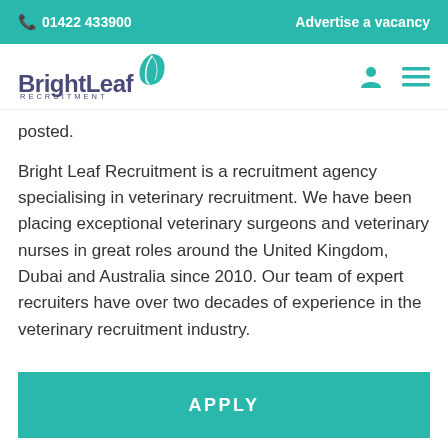📞 01422 433900    Advertise a vacancy
[Figure (logo): BrightLeaf Recruitment logo with teal leaf icon]
posted.
Bright Leaf Recruitment is a recruitment agency specialising in veterinary recruitment. We have been placing exceptional veterinary surgeons and veterinary nurses in great roles around the United Kingdom, Dubai and Australia since 2010. Our team of expert recruiters have over two decades of experience in the veterinary recruitment industry.
APPLY